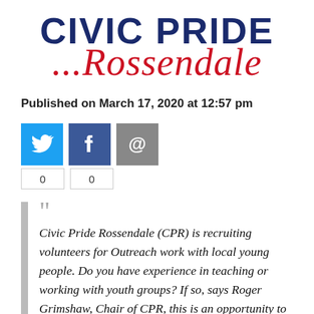CIVIC PRIDE ...Rossendale
Published on March 17, 2020 at 12:57 pm
[Figure (infographic): Social sharing buttons: Twitter (blue), Facebook (dark blue), Email (grey), with share counts of 0 for Twitter and 0 for Facebook below]
"Civic Pride Rossendale (CPR) is recruiting volunteers for Outreach work with local young people. Do you have experience in teaching or working with youth groups? If so, says Roger Grimshaw, Chair of CPR, this is an opportunity to get involved with